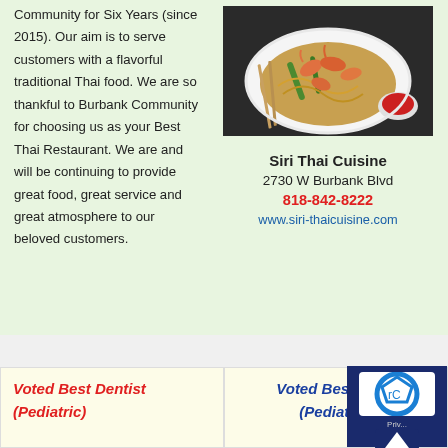Community for Six Years (since 2015). Our aim is to serve customers with a flavorful traditional Thai food. We are so thankful to Burbank Community for choosing us as your Best Thai Restaurant. We are and will be continuing to provide great food, great service and great atmosphere to our beloved customers.
[Figure (photo): Photo of Thai food dish on a white plate with shrimp, noodles, and vegetables, with chopsticks and a small bowl of red sauce]
Siri Thai Cuisine
2730 W Burbank Blvd
818-842-8222
www.siri-thaicuisine.com
Voted Best Dentist (Pediatric)
Voted Best Dentist (Pediatric)